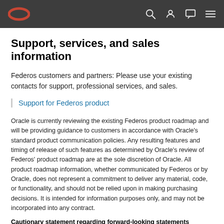Oracle navigation bar with logo and icons
Support, services, and sales information
Federos customers and partners: Please use your existing contacts for support, professional services, and sales.
Support for Federos product
Oracle is currently reviewing the existing Federos product roadmap and will be providing guidance to customers in accordance with Oracle’s standard product communication policies. Any resulting features and timing of release of such features as determined by Oracle’s review of Federos’ product roadmap are at the sole discretion of Oracle. All product roadmap information, whether communicated by Federos or by Oracle, does not represent a commitment to deliver any material, code, or functionality, and should not be relied upon in making purchasing decisions. It is intended for information purposes only, and may not be incorporated into any contract.
Cautionary statement regarding forward-looking statements
This document contains certain forward-looking statements about Oracle and Federos, including statements that involve risks and uncertainties concerning Oracle’s proposed acquisition of Federos, anticipated customer benefits and